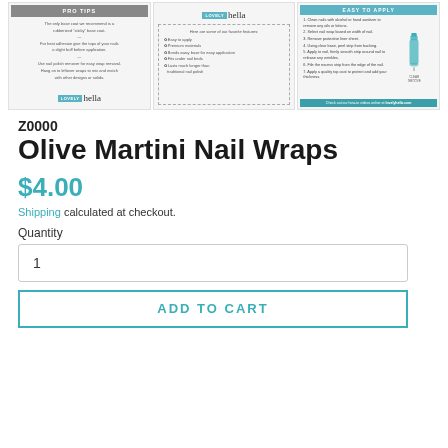[Figure (screenshot): Three product information panels for Lovely Hella nail wraps: left panel shows PRO TIPS with text tips and Lovely Hella logo; center panel shows Lovely Hella logo with dashed border and feature list (Easy to apply, Premium materials, Bonds away base for easy application, Fits under nail beds, Lasts much longer than traditional nail polish); right panel shows EASY TO APPLY instructions with numbered steps and nail bottle illustration.]
Z0000
Olive Martini Nail Wraps
$4.00
Shipping calculated at checkout.
Quantity
1
ADD TO CART